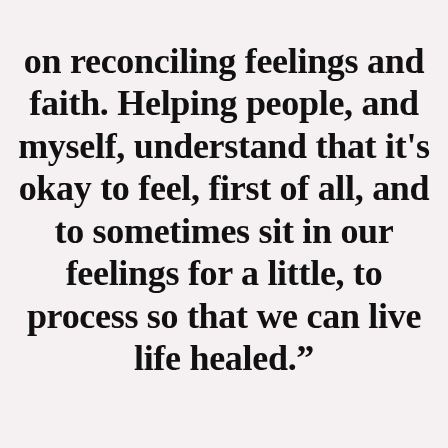on reconciling feelings and faith. Helping people, and myself, understand that it’s okay to feel, first of all, and to sometimes sit in our feelings for a little, to process so that we can live life healed.”